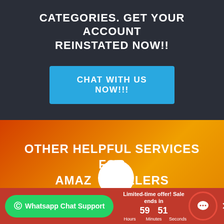CATEGORIES. GET YOUR ACCOUNT REINSTATED NOW!!
CHAT WITH US NOW!!!
OTHER HELPFUL SERVICES FOR AMAZON SELLERS
Limited-time offer! Sale ends in
59 Hours  51 Minutes  Seconds
Whatsapp Chat Support